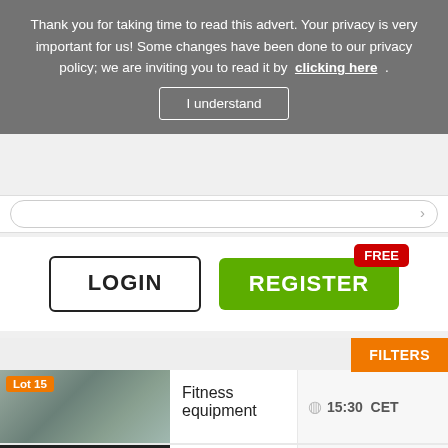Thank you for taking time to read this advert. Your privacy is very important for us! Some changes have been done to our privacy policy; we are inviting you to read it by clicking here . I understand
[Figure (screenshot): Search bar with rounded border]
LOGIN
REGISTER FREE
FILTERS
Lot 15 - Fitness equipment - 15:30 CET
Lot 17 - Leather goods and bags - 21/03/2022 15:30 CET
Lot 2 - Minerals and tumbled stones - 30/05/2022 11:42 CET - Offers - £1,500